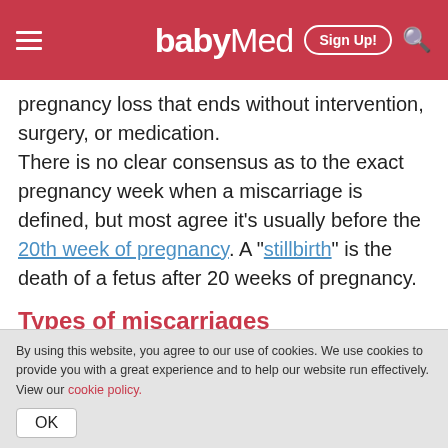babyMed
pregnancy loss that ends without intervention, surgery, or medication. There is no clear consensus as to the exact pregnancy week when a miscarriage is defined, but most agree it's usually before the 20th week of pregnancy. A "stillbirth" is the death of a fetus after 20 weeks of pregnancy.
Types of miscarriages
There are several types of miscarriage –
By using this website, you agree to our use of cookies. We use cookies to provide you with a great experience and to help our website run effectively. View our cookie policy.